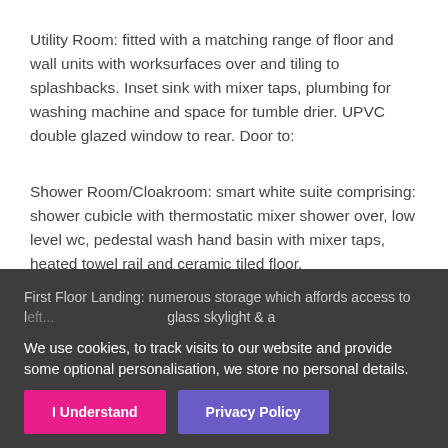Utility Room: fitted with a matching range of floor and wall units with worksurfaces over and tiling to splashbacks. Inset sink with mixer taps, plumbing for washing machine and space for tumble drier. UPVC double glazed window to rear. Door to:
Shower Room/Cloakroom: smart white suite comprising: shower cubicle with thermostatic mixer shower over, low level wc, pedestal wash hand basin with mixer taps, heated towel rail and ceramic tiled floor.
First Floor Landing: numerous storage which affords access to loft... glass skylight & a...
We use cookies, to track visits to our website and provide some optional personalisation, we store no personal details.